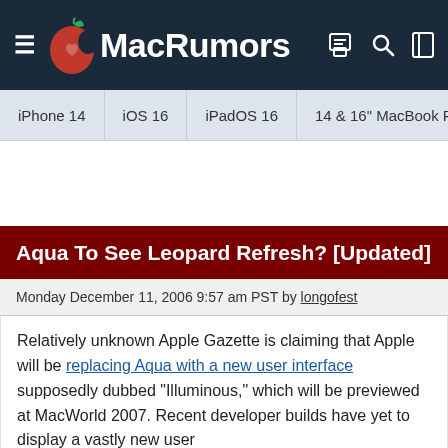MacRumors
iPhone 14 | iOS 16 | iPadOS 16 | 14 & 16" MacBook P
Aqua To See Leopard Refresh? [Updated]
Monday December 11, 2006 9:57 am PST by longofest
Relatively unknown Apple Gazette is claiming that Apple will be replacing Aqua with a new user interface supposedly dubbed "Illuminous," which will be previewed at MacWorld 2007. Recent developer builds have yet to display a vastly new user interface, however Steve Jobs did mention when he previewed the OS at this past year's WWDC that several of Leopard's features were going to be kept "Top Secret".